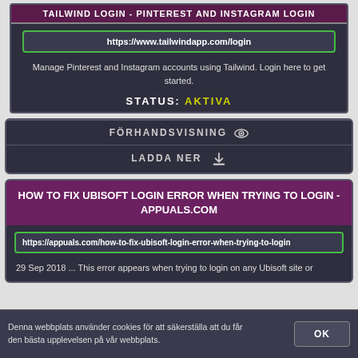TAILWIND LOGIN - PINTEREST AND INSTAGRAM LOGIN
https://www.tailwindapp.com/login
Manage Pinterest and Instagram accounts using Tailwind. Login here to get started.
STATUS: AKTIVA
FÖRHANDSVISNING
LADDA NER
HOW TO FIX UBISOFT LOGIN ERROR WHEN TRYING TO LOGIN - APPUALS.COM
https://appuals.com/how-to-fix-ubisoft-login-error-when-trying-to-login
29 Sep 2018 ... This error appears when trying to login on any Ubisoft site or
Denna webbplats använder cookies för att säkerställa att du får den bästa upplevelsen på vår webbplats.